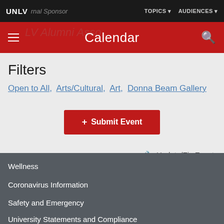UNLV | Journal Sponsor | TOPICS | AUDIENCES
Calendar
Filters
Open to All, Arts/Cultural, Art, Donna Beam Gallery
+ Submit Event
Update/Fix Event
Wellness
Coronavirus Information
Safety and Emergency
University Statements and Compliance